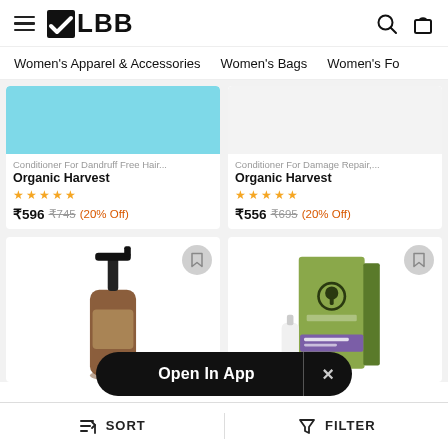LBB
Women's Apparel & Accessories
Women's Bags
Women's Fo...
Conditioner For Dandruff Free Hair...
Organic Harvest
★★★★★
₹596 ₹745 (20% Off)
Conditioner For Damage Repair,...
Organic Harvest
★★★★★
₹556 ₹695 (20% Off)
[Figure (photo): Pump bottle product photo (left, bottom row)]
[Figure (photo): Green box (Organic Harvest Hair Oil for Dandruff, right, bottom row)]
Open In App
SORT    FILTER